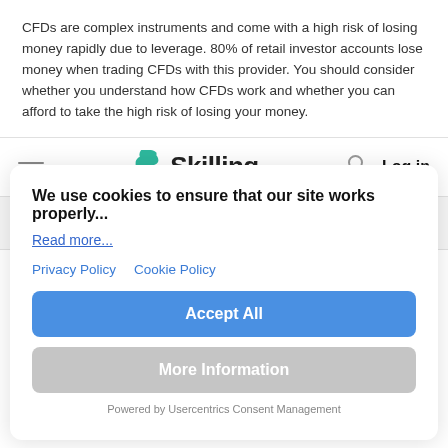CFDs are complex instruments and come with a high risk of losing money rapidly due to leverage. 80% of retail investor accounts lose money when trading CFDs with this provider. You should consider whether you understand how CFDs work and whether you can afford to take the high risk of losing your money.
[Figure (logo): Skilling brand logo with green S icon and 'Skilling' text, hamburger menu icon on left, search icon and Log in on right]
FOLLOW US ON:
We use cookies to ensure that our site works properly...
Read more...
Privacy Policy   Cookie Policy
Accept All
More Information
Powered by Usercentrics Consent Management